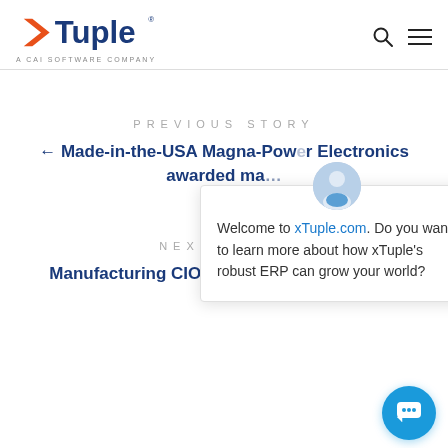xTuple — A CAI SOFTWARE COMPANY
PREVIOUS STORY
← Made-in-the-USA Magna-Power Electronics awarded ma…
[Figure (screenshot): Chat popup overlay with avatar image, close button, and text: Welcome to xTuple.com. Do you want to learn more about how xTuple's robust ERP can grow your world?]
NEXT STORY
Manufacturing CIO Insights: Collecting and